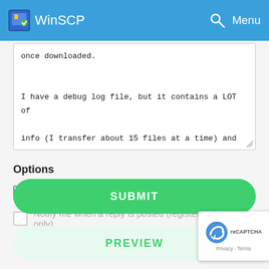WinSCP  Menu
once downloaded.

I have a debug log file, but it contains a LOT of info (I transfer about 15 files at a time) and
Options
Disable BBCode in this post
Notify me when a reply is posted (registered users only)
SUBMIT
PREVIEW